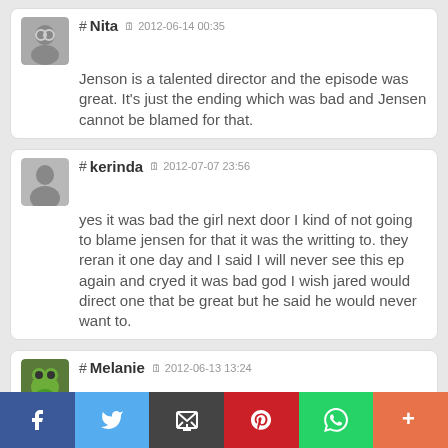# Nita 2012-06-14 00:35 Jenson is a talented director and the episode was great. It's just the ending which was bad and Jensen cannot be blamed for that.
# kerinda 2012-07-07 23:56 yes it was bad the girl next door I kind of not going to blame jensen for that it was the writting to. they reran it one day and I said I will never see this ep again and cryed it was bad god I wish jared would direct one that be great but he said he would never want to.
# Melanie 2012-06-13 13:24 The only thing I dont really agree with is that Dean left Sam alone to die in the hospital.. if you remember Sam left Dean in the hospital while